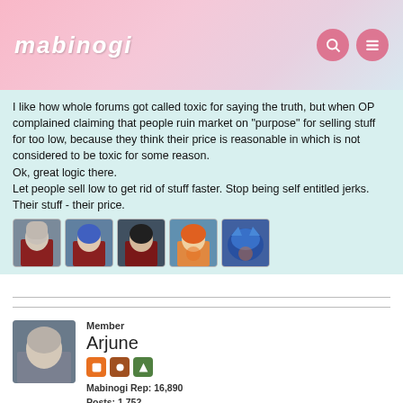mabinogi
I like how whole forums got called toxic for saying the truth, but when OP complained claiming that people ruin market on "purpose" for selling stuff for too low, because they think their price is reasonable in which is not considered to be toxic for some reason.
Ok, great logic there.
Let people sell low to get rid of stuff faster. Stop being self entitled jerks. Their stuff - their price.
[Figure (illustration): Row of 5 anime character avatar thumbnails]
Member
Arjune
Mabinogi Rep: 16,890
Posts: 1,752